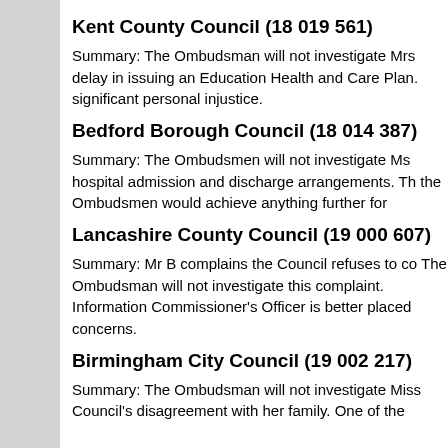Kent County Council (18 019 561)
Summary: The Ombudsman will not investigate Mrs delay in issuing an Education Health and Care Plan. significant personal injustice.
Bedford Borough Council (18 014 387)
Summary: The Ombudsmen will not investigate Ms hospital admission and discharge arrangements. Th the Ombudsmen would achieve anything further for
Lancashire County Council (19 000 607)
Summary: Mr B complains the Council refuses to co The Ombudsman will not investigate this complaint. Information Commissioner's Officer is better placed concerns.
Birmingham City Council (19 002 217)
Summary: The Ombudsman will not investigate Miss Council's disagreement with her family. One of the